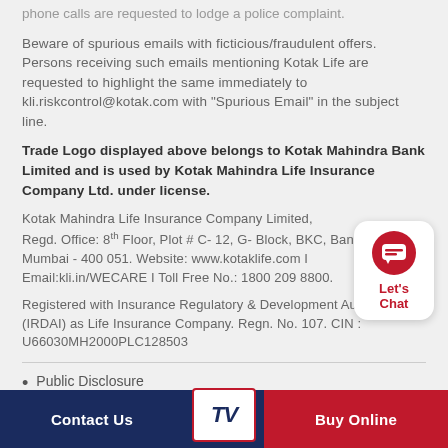phone calls are requested to lodge a police complaint.
Beware of spurious emails with ficticious/fraudulent offers. Persons receiving such emails mentioning Kotak Life are requested to highlight the same immediately to kli.riskcontrol@kotak.com with "Spurious Email" in the subject line.
Trade Logo displayed above belongs to Kotak Mahindra Bank Limited and is used by Kotak Mahindra Life Insurance Company Ltd. under license.
Kotak Mahindra Life Insurance Company Limited, Regd. Office: 8th Floor, Plot # C- 12, G- Block, BKC, Bandra (E), Mumbai - 400 051. Website: www.kotaklife.com I Email:kli.in/WECARE I Toll Free No.: 1800 209 8800.
Registered with Insurance Regulatory & Development Authority (IRDAI) as Life Insurance Company. Regn. No. 107. CIN : U66030MH2000PLC128503
Public Disclosure
Contact Us | TV | Buy Online